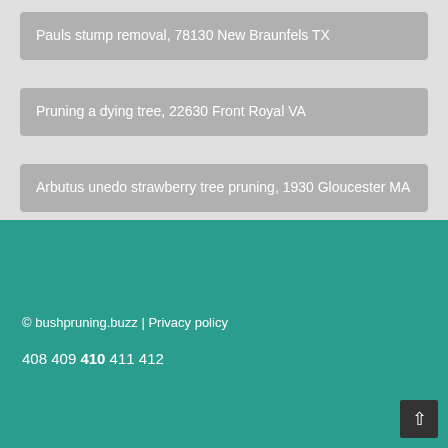Pauls stump removal, 78130 New Braunfels TX
Pruning a dying tree, 22630 Front Royal VA
Arbutus unedo strawberry tree pruning, 1930 Gloucester MA
© bushpruning.buzz | Privacy policy
408 409 410 411 412